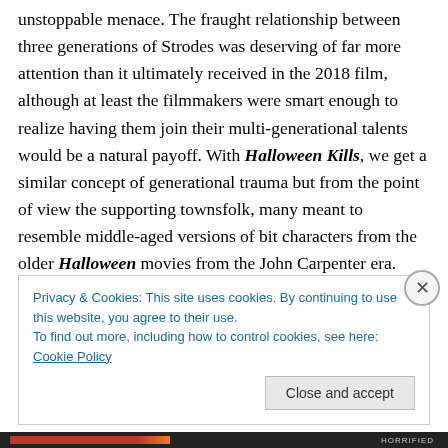unstoppable menace. The fraught relationship between three generations of Strodes was deserving of far more attention than it ultimately received in the 2018 film, although at least the filmmakers were smart enough to realize having them join their multi-generational talents would be a natural payoff. With Halloween Kills, we get a similar concept of generational trauma but from the point of view the supporting townsfolk, many meant to resemble middle-aged versions of bit characters from the older Halloween movies from the John Carpenter era. That sort of dedication to furthering the mythology of this town
Privacy & Cookies: This site uses cookies. By continuing to use this website, you agree to their use. To find out more, including how to control cookies, see here: Cookie Policy
Close and accept